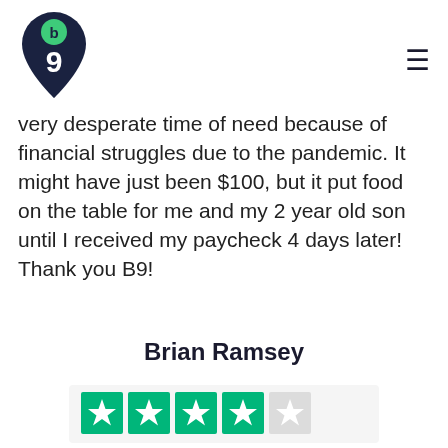[Figure (logo): B9 company logo — dark navy teardrop/pin shape with a small green circle containing 'b' at top, and a bold '9' below]
very desperate time of need because of financial struggles due to the pandemic. It might have just been $100, but it put food on the table for me and my 2 year old son until I received my paycheck 4 days later! Thank you B9!
Brian Ramsey
B9 is a great company that offers the world's best cash advance opportunities.The customer service is outstanding and persues excellence in assisting you.I recommend this company to anyone.
[Figure (other): Trustpilot rating bar showing 4 out of 5 green stars on a light grey background]